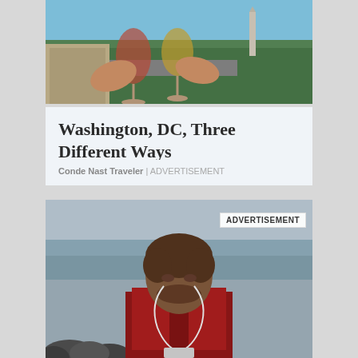[Figure (photo): Hands clinking wine/cocktail glasses on a rooftop with Washington DC skyline and monument visible in background]
Washington, DC, Three Different Ways
Conde Nast Traveler | ADVERTISEMENT
[Figure (photo): Man in red hoodie with earbuds looking at phone near rocky waterfront, with ADVERTISEMENT badge overlay]